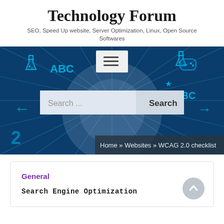Technology Forum
SEO, Speed Up website, Server Optimization, Linux, Open Source Softwares
[Figure (screenshot): Technology forum website banner with dark blue background featuring science/education icons (flasks, ABC letters, math symbols), a hamburger menu button, a search bar with 'Search ...' placeholder and 'Search' button, and a breadcrumb bar showing 'Home » Websites » WCAG 2.0 checklist']
General
Search Engine Optimization